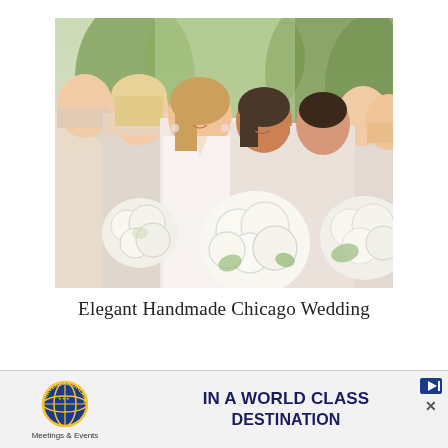[Figure (photo): Wedding party photo showing bride and bridesmaids in white/cream dresses holding large white floral bouquets, standing outdoors with trees in background]
Elegant Handmade Chicago Wedding
[Figure (logo): Universal Orlando Resort advertisement with globe logo, 'Meetings & Events' text, 'IN A WORLD CLASS DESTINATION' headline in navy blue, with play button icon and close button]